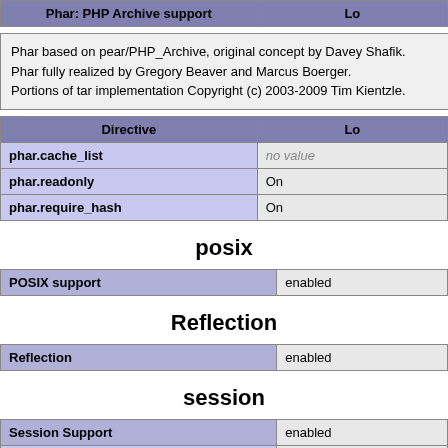| Phar: PHP Archive support | Lo |
| --- | --- |
Phar based on pear/PHP_Archive, original concept by Davey Shafik.
Phar fully realized by Gregory Beaver and Marcus Boerger.
Portions of tar implementation Copyright (c) 2003-2009 Tim Kientzle.
| Directive | Lo |
| --- | --- |
| phar.cache_list | no value |
| phar.readonly | On |
| phar.require_hash | On |
posix
| POSIX support | enabled |
Reflection
| Reflection | enabled |
session
| Session Support | enabled |
| Registered save handlers | files user |